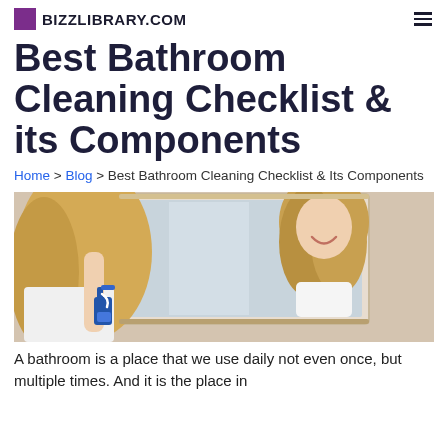BIZZLIBRARY.COM
Best Bathroom Cleaning Checklist & its Components
Home > Blog > Best Bathroom Cleaning Checklist & Its Components
[Figure (photo): A smiling blonde woman cleaning a bathroom mirror with a spray bottle, reflected in the mirror.]
A bathroom is a place that we use daily not even once, but multiple times. And it is the place in